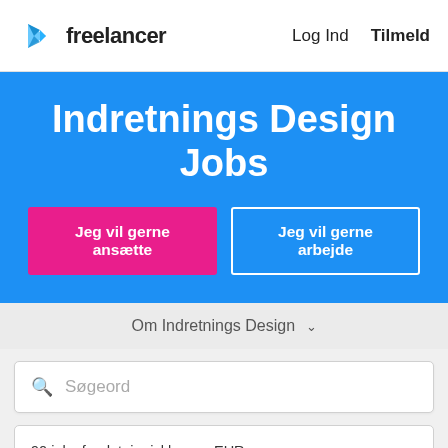Freelancer  Log Ind  Tilmeld
Indretnings Design Jobs
Jeg vil gerne ansætte
Jeg vil gerne arbejde
Om Indretnings Design
Søgeord
90 jobs fundet, i prisklassen EUR